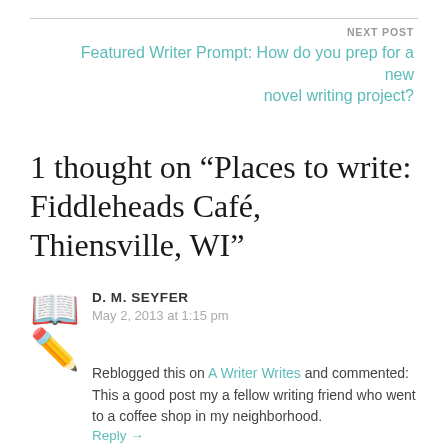NEXT POST
Featured Writer Prompt: How do you prep for a new novel writing project?
1 thought on “Places to write: Fiddleheads Café, Thiensville, WI”
D. M. SEYFER
May 2, 2013 at 1:15 pm
Reblogged this on A Writer Writes and commented: This a good post my a fellow writing friend who went to a coffee shop in my neighborhood.
Reply →